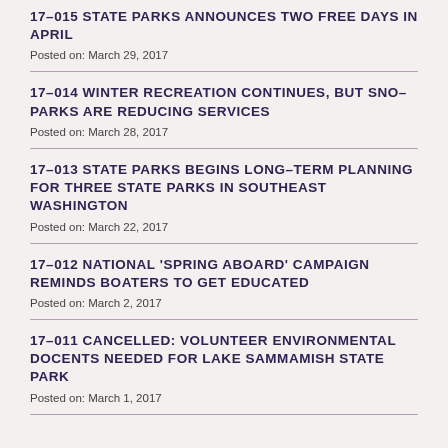17-015 STATE PARKS ANNOUNCES TWO FREE DAYS IN APRIL
Posted on: March 29, 2017
17-014 WINTER RECREATION CONTINUES, BUT SNO-PARKS ARE REDUCING SERVICES
Posted on: March 28, 2017
17-013 STATE PARKS BEGINS LONG-TERM PLANNING FOR THREE STATE PARKS IN SOUTHEAST WASHINGTON
Posted on: March 22, 2017
17-012 NATIONAL ‘SPRING ABOARD’ CAMPAIGN REMINDS BOATERS TO GET EDUCATED
Posted on: March 2, 2017
17-011 CANCELLED: VOLUNTEER ENVIRONMENTAL DOCENTS NEEDED FOR LAKE SAMMAMISH STATE PARK
Posted on: March 1, 2017